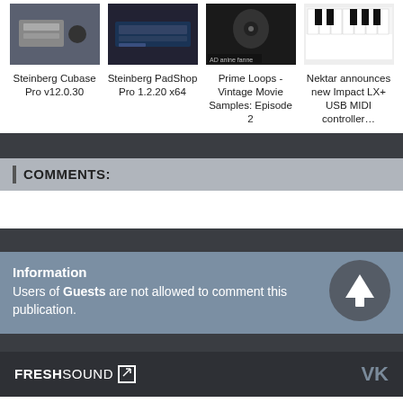[Figure (screenshot): Four thumbnail images in a row showing music software/hardware products]
Steinberg Cubase Pro v12.0.30
Steinberg PadShop Pro 1.2.20 x64
Prime Loops - Vintage Movie Samples: Episode 2
Nektar announces new Impact LX+ USB MIDI controller…
COMMENTS:
Information
Users of Guests are not allowed to comment this publication.
FRESHSOUND